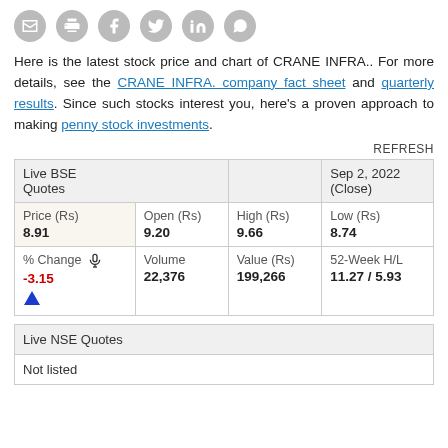[Figure (other): Row of 6 grey social/share icon circles: email, print, Facebook, Twitter, LinkedIn, WhatsApp]
Here is the latest stock price and chart of CRANE INFRA.. For more details, see the CRANE INFRA. company fact sheet and quarterly results. Since such stocks interest you, here's a proven approach to making penny stock investments.
REFRESH
| Live BSE Quotes |  |  | Sep 2, 2022 (Close) |
| --- | --- | --- | --- |
| Price (Rs)
8.91 | Open (Rs)
9.20 | High (Rs)
9.66 | Low (Rs)
8.74 |
| % Change
-3.15 | Volume
22,376 | Value (Rs)
199,266 | 52-Week H/L
11.27 / 5.93 |
| Live NSE Quotes |
| --- |
| Not listed |